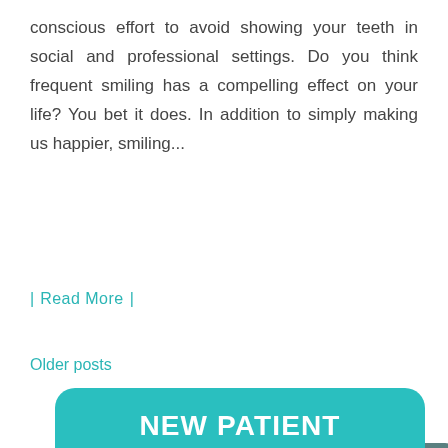conscious effort to avoid showing your teeth in social and professional settings. Do you think frequent smiling has a compelling effect on your life? You bet it does. In addition to simply making us happier, smiling...
| Read More |
Older posts
[Figure (infographic): Teal rounded banner with 'NEW PATIENT ONLINE OFFER' in large white bold uppercase text, overlapping a darker teal/gray rounded card below showing '$57 Initial Exam and X-Rays ($223 Value)' and 'CONTACT US TODAY FOR DETAILS' in white text.]